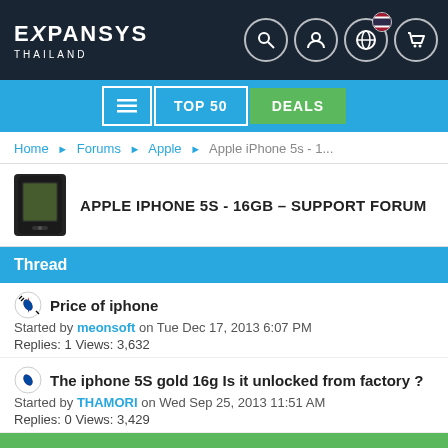EXPANSYS THAILAND
TOP 50 | DEALS
Home ▶ Forums ▶ Apple ▶ Apple iPhone 5s - 1...
APPLE IPHONE 5S - 16GB – SUPPORT FORUM
Thread
Price of iphone
Started by meonsoft on Tue Dec 17, 2013 6:07 PM
Replies: 1 Views: 3,632
The iphone 5S gold 16g Is it unlocked from factory ?
Started by THAMORI on Wed Sep 25, 2013 11:51 AM
Replies: 0 Views: 3,429
Deal of the Day: Samsung Galaxy Watch 4 Classic 46mm
Hurry! Only 14:56:37 left!
B2B / Wholesale   Sell on Expansys!   Partner Program   Forum   Contact